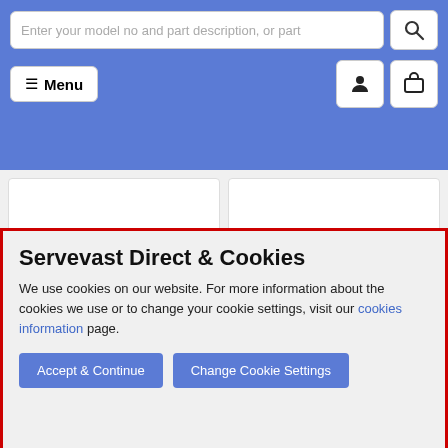Enter your model no and part description, or part [search]
[Figure (screenshot): Navigation header with Menu button, user icon, and cart icon on blue background]
[Figure (other): Product card showing 'Image Unavailable' text and product name PL614WH]
[Figure (other): Product card showing 'Image Unavailable' text and product name PL8210X]
[Figure (other): Product card with question mark figure image, 'Image Unavailable' and product name PL944X]
[Figure (other): Product card with question mark figure image, 'Image Unavailable' and product name PL964X]
Servevast Direct & Cookies
We use cookies on our website. For more information about the cookies we use or to change your cookie settings, visit our cookies information page.
Accept & Continue | Change Cookie Settings